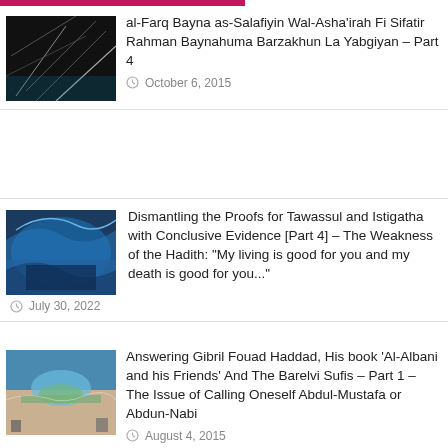[Figure (photo): Dark abstract image with bright lines/geometry, used as article thumbnail]
al-Farq Bayna as-Salafiyin Wal-Asha'irah Fi Sifatir Rahman Baynahuma Barzakhun La Yabgiyan – Part 4
October 6, 2015
[Figure (photo): Blue icy cave or glacier interior, used as article thumbnail]
Dismantling the Proofs for Tawassul and Istigatha with Conclusive Evidence [Part 4] – The Weakness of the Hadith: "My living is good for you and my death is good for you..."
July 30, 2022
[Figure (photo): Aerial view of tropical island with boats, used as article thumbnail]
Answering Gibril Fouad Haddad, His book 'Al-Albani and his Friends' And The Barelvi Sufis – Part 1 – The Issue of Calling Oneself Abdul-Mustafa or Abdun-Nabi
August 4, 2015
[Figure (illustration): Arabic text image, possibly a book cover or title page]
[Sharh Muwatta Imam Malik – Shaikh Zubair Ali Zai] – Hadith No.14 –:– How to Perform the Funeral Prayer
November 12, 2015
[Figure (photo): Colorful mountain landscape, used as article thumbnail]
Different levels of Innovation – Shaikh Rabi ibn Hadi al-Madkhali
July 23, 2015